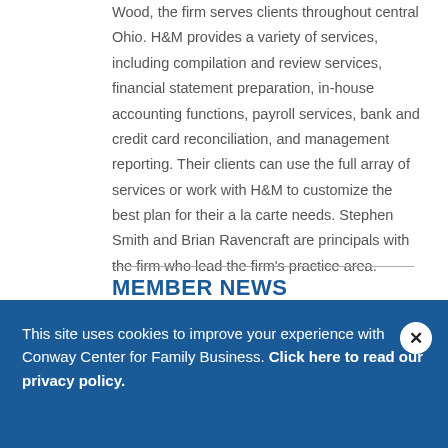Wood, the firm serves clients throughout central Ohio. H&M provides a variety of services, including compilation and review services, financial statement preparation, in-house accounting functions, payroll services, bank and credit card reconciliation, and management reporting. Their clients can use the full array of services or work with H&M to customize the best plan for their a la carte needs. Stephen Smith and Brian Ravencraft are principals with the firm who lead the firm's practice area.
MEMBER NEWS
This site uses cookies to improve your experience with Conway Center for Family Business. Click here to read our privacy policy.